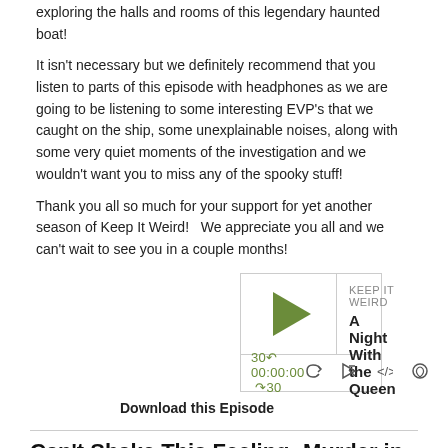exploring the halls and rooms of this legendary haunted boat!
It isn't necessary but we definitely recommend that you listen to parts of this episode with headphones as we are going to be listening to some interesting EVP's that we caught on the ship, some unexplainable noises, along with some very quiet moments of the investigation and we wouldn't want you to miss any of the spooky stuff!
Thank you all so much for your support for yet another season of Keep It Weird!   We appreciate you all and we can't wait to see you in a couple months!
[Figure (other): Podcast player widget for 'Keep It Weird' episode 'A Night With the Queen' with play button, progress bar, and controls showing 30s skip, 00:00:00 time, and forward 30s]
Download this Episode
Can't Shake This Feeling: Murder in the Mid...
Dec 13, 2019
On November 16th, 2018 Keep It Weird released their very first Special Edition True Crime Investigation wherein your host Ashley and very special